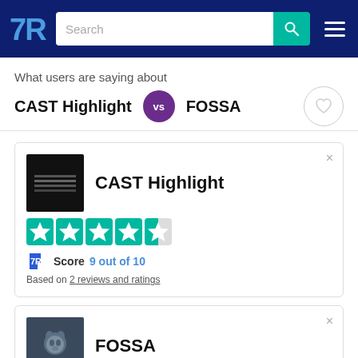TrustRadius navigation bar with search
What users are saying about
CAST Highlight vs FOSSA
[Figure (other): CAST Highlight product card with logo, 4.5 star rating, TR Score 9 out of 10, based on 2 reviews and ratings]
[Figure (other): FOSSA product card with logo]